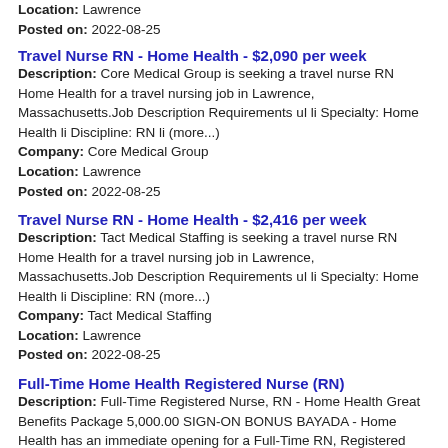Location: Lawrence
Posted on: 2022-08-25
Travel Nurse RN - Home Health - $2,090 per week
Description: Core Medical Group is seeking a travel nurse RN Home Health for a travel nursing job in Lawrence, Massachusetts.Job Description Requirements ul li Specialty: Home Health li Discipline: RN li (more...)
Company: Core Medical Group
Location: Lawrence
Posted on: 2022-08-25
Travel Nurse RN - Home Health - $2,416 per week
Description: Tact Medical Staffing is seeking a travel nurse RN Home Health for a travel nursing job in Lawrence, Massachusetts.Job Description Requirements ul li Specialty: Home Health li Discipline: RN (more...)
Company: Tact Medical Staffing
Location: Lawrence
Posted on: 2022-08-25
Full-Time Home Health Registered Nurse (RN)
Description: Full-Time Registered Nurse, RN - Home Health Great Benefits Package 5,000.00 SIGN-ON BONUS BAYADA - Home Health has an immediate opening for a Full-Time RN, Registered Nurse to perform home health (more...)
Company: BAYADA Home Health Care
Location: Haverhill